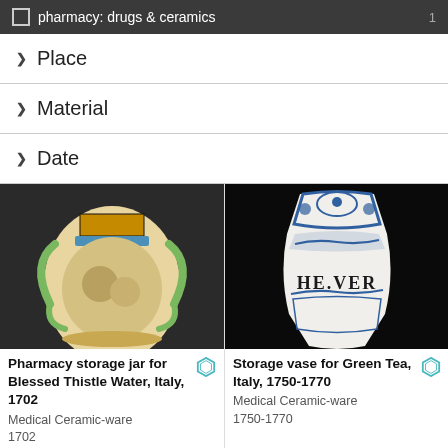pharmacy: drugs & ceramics 1
Place
Material
Date
[Figure (photo): Ornate pharmacy storage jar with handles, decorated with blue and yellow patterns and figurative scene, Italy 1702]
Pharmacy storage jar for Blessed Thistle Water, Italy, 1702
Medical Ceramic-ware
1702
[Figure (photo): Blue and white storage vase with floral decoration and text HE.VER, Italy 1750-1770]
Storage vase for Green Tea, Italy, 1750-1770
Medical Ceramic-ware
1750-1770
[Figure (photo): Partial view of a ceramic item, dark background, bottom of page]
[Figure (photo): Partial view of a brown/copper colored ceramic or metal object, bottom of page]